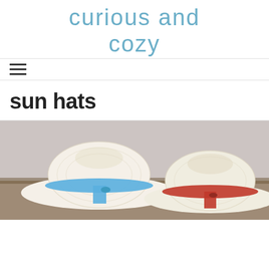curious and cozy
[Figure (other): Hamburger menu icon (three horizontal lines)]
sun hats
[Figure (photo): Photo of crochet/straw sun hats from above, two hats with blue and red ribbon bands on a wooden surface]